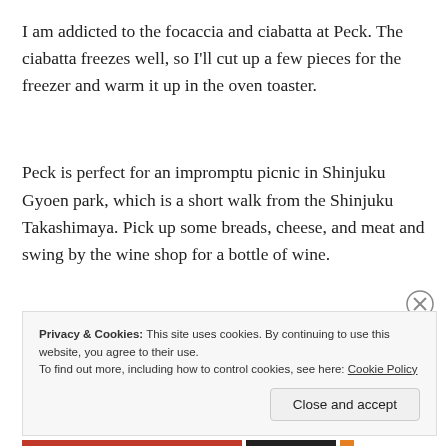I am addicted to the focaccia and ciabatta at Peck. The ciabatta freezes well, so I'll cut up a few pieces for the freezer and warm it up in the oven toaster.
Peck is perfect for an impromptu picnic in Shinjuku Gyoen park, which is a short walk from the Shinjuku Takashimaya. Pick up some breads, cheese, and meat and swing by the wine shop for a bottle of wine.
Privacy & Cookies: This site uses cookies. By continuing to use this website, you agree to their use.
To find out more, including how to control cookies, see here: Cookie Policy